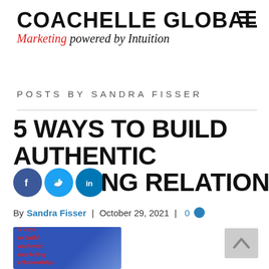COACHELLE GLOBAL Marketing powered by Intuition
POSTS BY SANDRA FISSER
5 WAYS TO BUILD AUTHENTIC MARKETING RELATIONSHIPS.
By Sandra Fisser | October 29, 2021 | 0
[Figure (illustration): Illustrated graphic with blue background, red italic text reading '5 ways to build authentic marketing relationships.' with illustrated figures of people]
[Figure (other): Back to top arrow button (chevron up) in light gray]